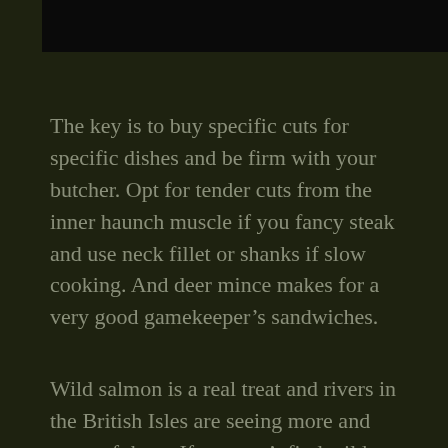[Figure (photo): Black bar at the top of the page, likely the bottom of an image above]
The key is to buy specific cuts for specific dishes and be firm with your butcher. Opt for tender cuts from the inner haunch muscle if you fancy steak and use neck fillet or shanks if slow cooking. And deer mince makes for a very good gamekeeper’s sandwiches.
Wild salmon is a real treat and rivers in the British Isles are seeing more and more of them. If you can’t find wild salmon there are some good farmed fish on the market, but bear in mind they probably won’t be able to match the flavour.